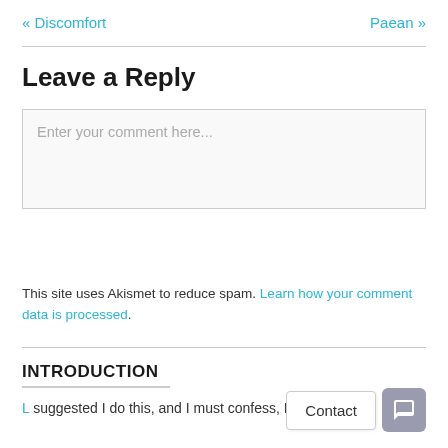« Discomfort    Paean »
Leave a Reply
Enter your comment here...
This site uses Akismet to reduce spam. Learn how your comment data is processed.
INTRODUCTION
L suggested I do this, and I must confess, I think she's on